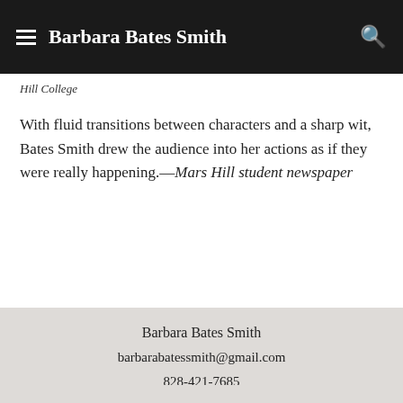Barbara Bates Smith
Hill College
With fluid transitions between characters and a sharp wit, Bates Smith drew the audience into her actions as if they were really happening.—Mars Hill student newspaper
Barbara Bates Smith
barbarabatessmith@gmail.com
828-421-7685